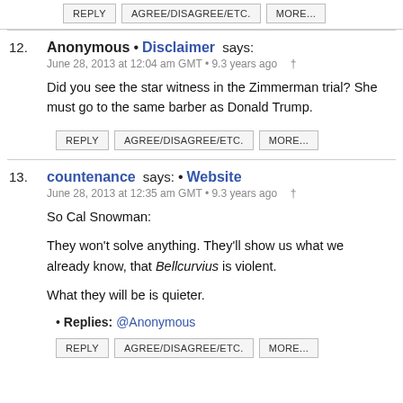REPLY | AGREE/DISAGREE/ETC. | MORE... (top buttons)
12. Anonymous • Disclaimer says:
June 28, 2013 at 12:04 am GMT • 9.3 years ago †

Did you see the star witness in the Zimmerman trial? She must go to the same barber as Donald Trump.

REPLY | AGREE/DISAGREE/ETC. | MORE...
13. countenance says: • Website
June 28, 2013 at 12:35 am GMT • 9.3 years ago †

So Cal Snowman:

They won't solve anything. They'll show us what we already know, that Bellcurvius is violent.

What they will be is quieter.

• Replies: @Anonymous

REPLY | AGREE/DISAGREE/ETC. | MORE...